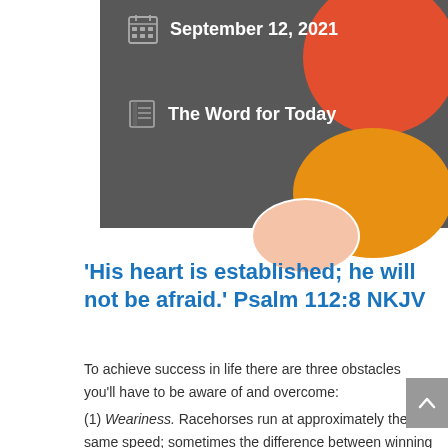September 12, 2021
The Word for Today
'His heart is established; he will not be afraid.' Psalm 112:8 NKJV
To achieve success in life there are three obstacles you'll have to be aware of and overcome:
(1) Weariness. Racehorses run at approximately the same speed; sometimes the difference between winning and losing the race comes down to their ‘heart’ to win. So, look into your heart today and see if you are truly committed. ‘Do not cast